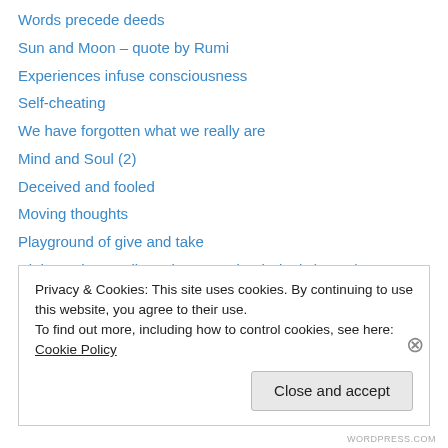Words precede deeds
Sun and Moon – quote by Rumi
Experiences infuse consciousness
Self-cheating
We have forgotten what we really are
Mind and Soul (2)
Deceived and fooled
Moving thoughts
Playground of give and take
Right Understanding – by Sant Kirpal Singh (part 8)
Right Understanding – by Sant Kirpal Singh (part 7)
Right Understanding – by Sant Kirpal Singh (part 6)
Right Understanding – by Sant Kirpal Singh (part 5)
Privacy & Cookies: This site uses cookies. By continuing to use this website, you agree to their use. To find out more, including how to control cookies, see here: Cookie Policy
WORDPRESS.COM